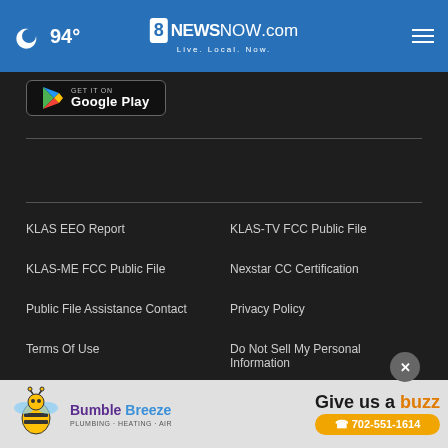94° 8NewsNow.com Live. Local. Now.
[Figure (logo): Google Play store download button]
KLAS EEO Report
KLAS-TV FCC Public File
KLAS-ME FCC Public File
Nexstar CC Certification
Public File Assistance Contact
Privacy Policy
Terms Of Use
Do Not Sell My Personal Information
FCC Applications
Public File Assistance Contact
[Figure (photo): Bumble Breeze advertisement banner - Give us a buzz 702-551-1614]